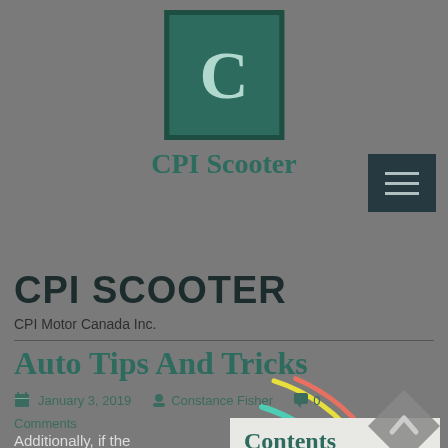[Figure (logo): CPI Scooter logo: dark green square with white letter C]
CPI Scooter
[Figure (other): Hamburger menu icon in dark teal background]
CPI SCOOTER
CPI Motor Canada Inc.
[Figure (other): Loading spinner with teal, yellow, and pink/red arcs]
Auto Tips And Tricks
January 3, 2019  Constance Fisher  0 Comments
Additionally, if the
Contents
1. Auto appoi...